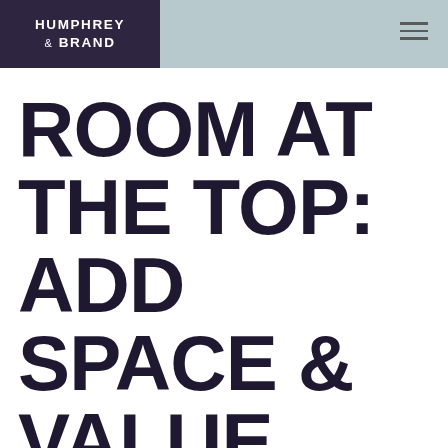HUMPHREY & BRAND
ROOM AT THE TOP: ADD SPACE & VALUE WITH A LOFT